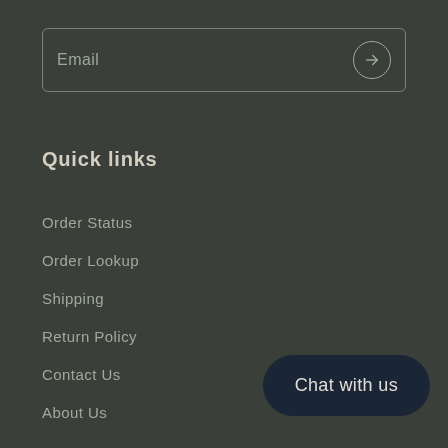Email
Quick links
Order Status
Order Lookup
Shipping
Return Policy
Contact Us
About Us
Chat with us